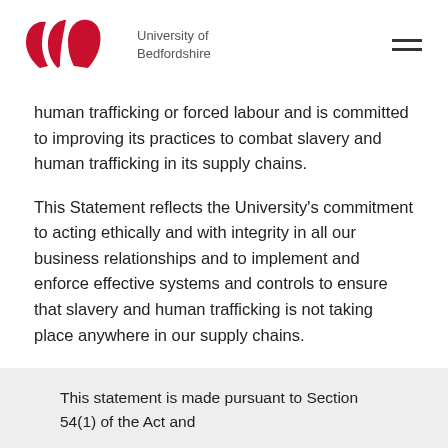University of Bedfordshire
human trafficking or forced labour and is committed to improving its practices to combat slavery and human trafficking in its supply chains.
This Statement reflects the University's commitment to acting ethically and with integrity in all our business relationships and to implement and enforce effective systems and controls to ensure that slavery and human trafficking is not taking place anywhere in our supply chains.
This statement is made pursuant to Section 54(1) of the Act and